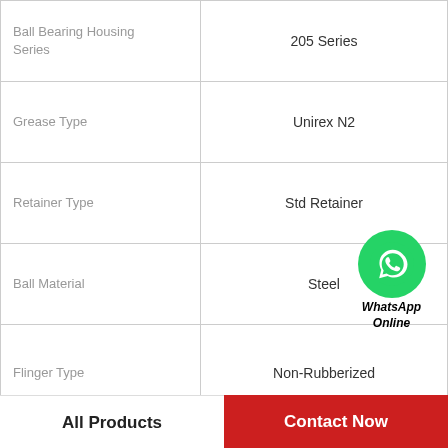| Property | Value |
| --- | --- |
| Ball Bearing Housing Series | 205 Series |
| Grease Type | Unirex N2 |
| Retainer Type | Std Retainer |
| Ball Material | Steel |
| Flinger Type | Non-Rubberized |
| Seal Type | Single Lip |
| Ball Grade | Class 10 |
| Bearing Outer Ring Material | Steel |
[Figure (logo): WhatsApp Online green circle icon with phone handset, labeled WhatsApp Online in italic bold text]
All Products    Contact Now